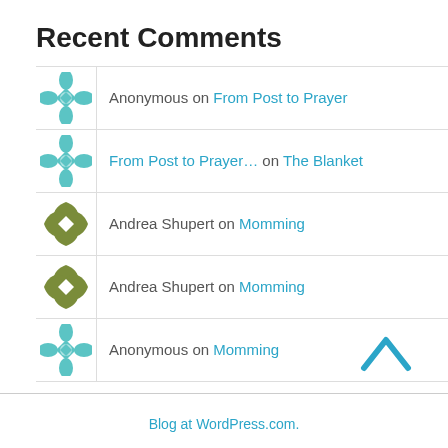Recent Comments
Anonymous on From Post to Prayer
From Post to Prayer… on The Blanket
Andrea Shupert on Momming
Andrea Shupert on Momming
Anonymous on Momming
Blog at WordPress.com.